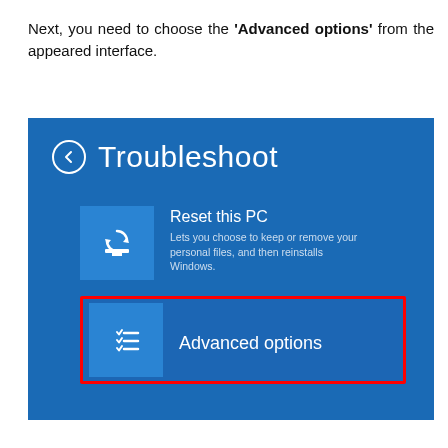Next, you need to choose the 'Advanced options' from the appeared interface.
[Figure (screenshot): Windows Troubleshoot screen showing two options: 'Reset this PC' and 'Advanced options' (highlighted with a red border). The screen has a blue background with white text and icons.]